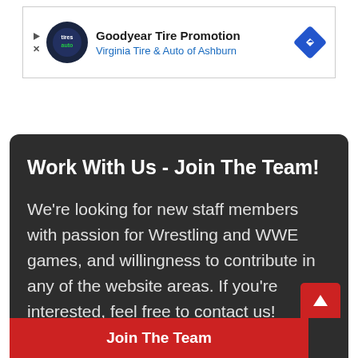[Figure (screenshot): Advertisement banner for Goodyear Tire Promotion by Virginia Tire & Auto of Ashburn, with play/close controls on left, circular logo in center-left, text in middle, and blue diamond arrow icon on right]
Work With Us - Join The Team!
We're looking for new staff members with passion for Wrestling and WWE games, and willingness to contribute in any of the website areas. If you're interested, feel free to contact us!